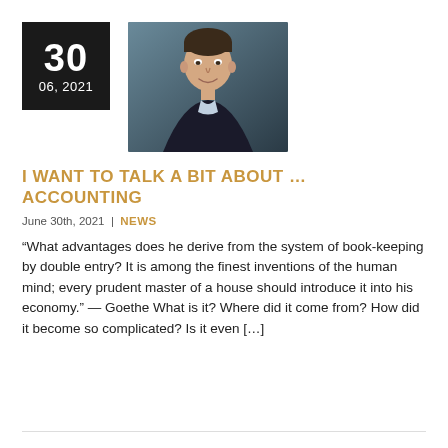30
06, 2021
[Figure (photo): Headshot of a man in a dark jacket and light blue shirt, smiling, against a dark teal background]
I WANT TO TALK A BIT ABOUT … ACCOUNTING
June 30th, 2021 | NEWS
“What advantages does he derive from the system of book-keeping by double entry? It is among the finest inventions of the human mind; every prudent master of a house should introduce it into his economy.” — Goethe What is it? Where did it come from? How did it become so complicated? Is it even […]